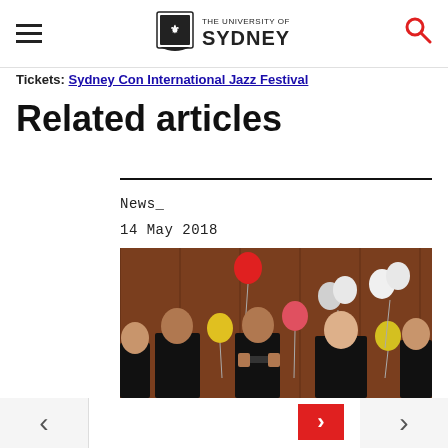The University of Sydney
Tickets: Sydney Con International Jazz Festival
Related articles
News_
14 May 2018
[Figure (photo): Performers in black clothing with colorful balloons (red, yellow, white, pink) in a wood-panelled room]
Navigation arrows left and right